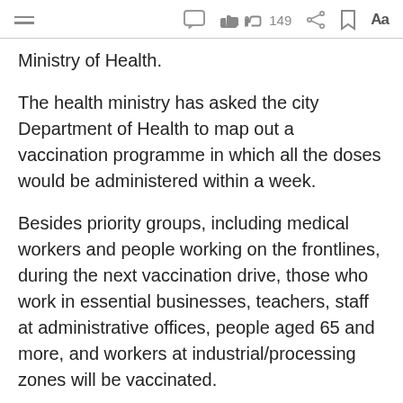Menu | Chat | 149 likes | Share | Bookmark | Aa
Ministry of Health.
The health ministry has asked the city Department of Health to map out a vaccination programme in which all the doses would be administered within a week.
Besides priority groups, including medical workers and people working on the frontlines, during the next vaccination drive, those who work in essential businesses, teachers, staff at administrative offices, people aged 65 and more, and workers at industrial/processing zones will be vaccinated.
The HCM City CDC warned that everyone could be a source of infection, and urged people to stay calm